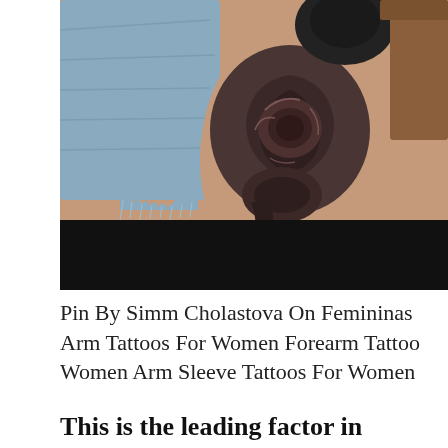[Figure (photo): Close-up photo of a detailed black and grey rose tattoo on a person's thigh/arm. The tattoo features a large realistic rose with petals and additional floral elements. The person is wearing denim shorts with frayed edges. Lower portion of the image is blacked out.]
Pin By Simm Cholastova On Femininas Arm Tattoos For Women Forearm Tattoo Women Arm Sleeve Tattoos For Women
This is the leading factor in